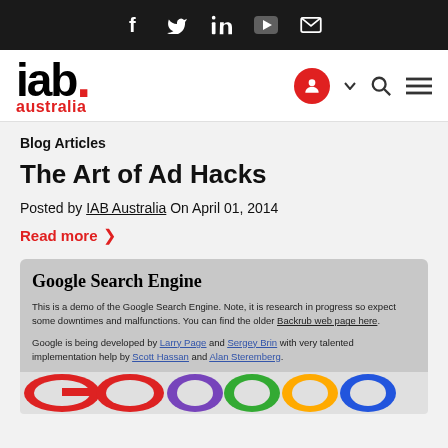Social media icons: facebook, twitter, linkedin, youtube, email
[Figure (logo): IAB Australia logo with red dot and red 'australia' text below]
Blog Articles
The Art of Ad Hacks
Posted by IAB Australia On April 01, 2014
Read more >
Google Search Engine
This is a demo of the Google Search Engine. Note, it is research in progress so expect some downtimes and malfunctions. You can find the older Backrub web page here.
Google is being developed by Larry Page and Sergey Brin with very talented implementation help by Scott Hassan and Alan Steremberg.
[Figure (screenshot): Colorful Google logo image strip at the bottom of the card]